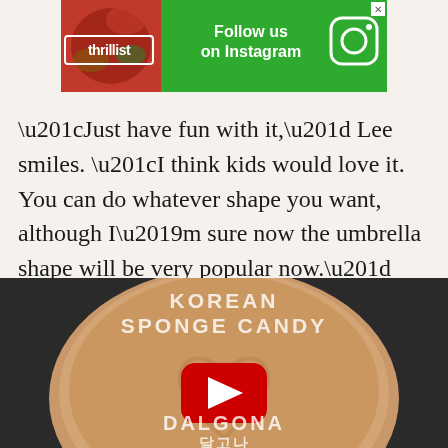[Figure (screenshot): Thrillist 'Follow us on Instagram' advertisement banner with green background, food image on left, and Instagram icon on right]
“Just have fun with it,” Lee smiles. “I think kids would love it. You can do whatever shape you want, although I’m sure now the umbrella shape will be very popular now.”
[Figure (screenshot): Video thumbnail showing Korean Sponge Candy (Dalgona) with a round caramel-colored candy disc with a heart shape pressed into it, YouTube play button overlay, text reads KOREAN SPONGE CANDY and DALGONA in Korean and English]